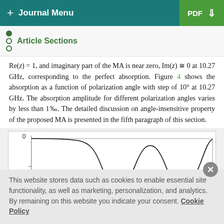+ Journal Menu | PDF
Article Sections
Re(z) = 1, and imaginary part of the MA is near zero, Im(z) ≅ 0 at 10.27 GHz, corresponding to the perfect absorption. Figure 4 shows the absorption as a function of polarization angle with step of 10° at 10.27 GHz. The absorption amplitude for different polarization angles varies by less than 1‰. The detailed discussion on angle-insensitive property of the proposed MA is presented in the fifth paragraph of this section.
[Figure (continuous-plot): Partial view of a line chart showing absorption curve with two dips, y-axis label starts at 0 and goes downward (likely negative dB), x-axis not visible in this crop.]
This website stores data such as cookies to enable essential site functionality, as well as marketing, personalization, and analytics. By remaining on this website you indicate your consent. Cookie Policy